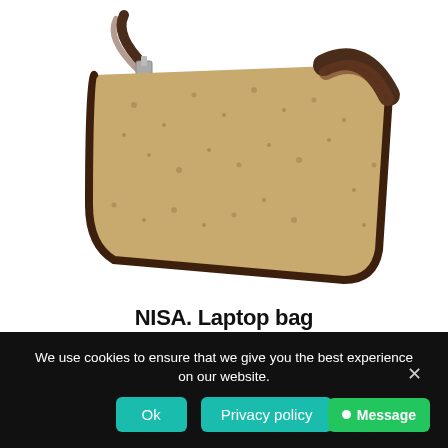[Figure (photo): A cork and dark brown leather laptop messenger bag with shoulder strap, shown at an angle on white background]
NISA. Laptop bag
We use cookies to ensure that we give you the best experience on our website.
Ok  Privacy policy  Message